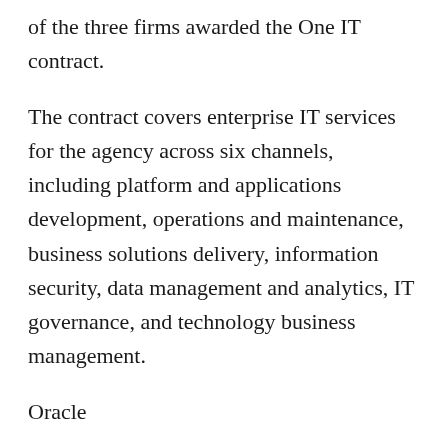of the three firms awarded the One IT contract.
The contract covers enterprise IT services for the agency across six channels, including platform and applications development, operations and maintenance, business solutions delivery, information security, data management and analytics, IT governance, and technology business management.
Oracle
Oracle today said Arab Jordan Investment Bank, CargoSmart, Certified Origins, Indian Oil, Intelipost, MTO, Neurosoft, Nigeria Customs, Sofbang, Solar Site Design and TradeFin are some of global organizations that already have adopted Oracle's blockchain platform